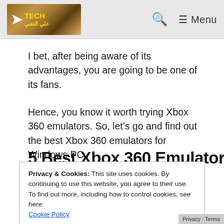TECH [logo] | Search | Menu
I bet, after being aware of its advantages, you are going to be one of its fans.
Hence, you know it worth trying Xbox 360 emulators. So, let’s go and find out the best Xbox 360 emulators for Windows PC.
5 Best Xbox 360 Emulators
Privacy & Cookies: This site uses cookies. By continuing to use this website, you agree to their use.
To find out more, including how to control cookies, see here:
Cookie Policy
Close and accept
experience very easy and adds fun to it.